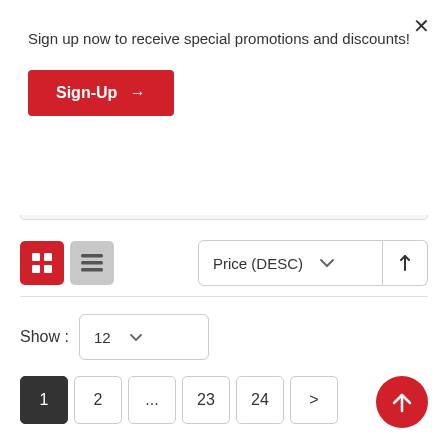Sign up now to receive special promotions and discounts!
Sign-Up →
[Figure (screenshot): E-commerce product listing page with grid/list view toggle, price sort dropdown, show count selector, and pagination controls. A modal overlay at top shows a signup promotion.]
Price (DESC)
Show : 12
1  2  ...  23  24  >